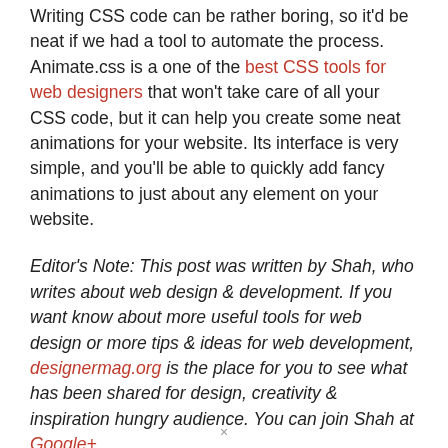Writing CSS code can be rather boring, so it'd be neat if we had a tool to automate the process. Animate.css is a one of the best CSS tools for web designers that won't take care of all your CSS code, but it can help you create some neat animations for your website. Its interface is very simple, and you'll be able to quickly add fancy animations to just about any element on your website.
Editor's Note: This post was written by Shah, who writes about web design & development. If you want know about more useful tools for web design or more tips & ideas for web development, designermag.org is the place for you to see what has been shared for design, creativity & inspiration hungry audience. You can join Shah at Google+
×